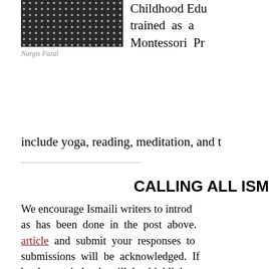[Figure (photo): Portrait photo of Nargis Fazal wearing a dark polka-dot top, cropped at top of page]
Nargis Fazal
Childhood Edu trained as a Montessori Pr include yoga, reading, meditation, and t
CALLING ALL ISM
We encourage Ismaili writers to introd as has been done in the post above. article and submit your responses to submissions will be acknowledged. If books, each book will be highlighte combined with other books into one p brief profile with a portrait photo.